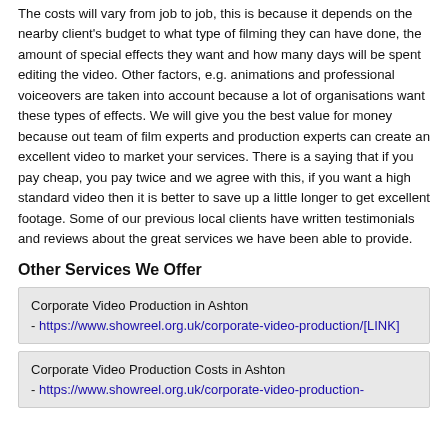The costs will vary from job to job, this is because it depends on the nearby client's budget to what type of filming they can have done, the amount of special effects they want and how many days will be spent editing the video. Other factors, e.g. animations and professional voiceovers are taken into account because a lot of organisations want these types of effects. We will give you the best value for money because out team of film experts and production experts can create an excellent video to market your services. There is a saying that if you pay cheap, you pay twice and we agree with this, if you want a high standard video then it is better to save up a little longer to get excellent footage. Some of our previous local clients have written testimonials and reviews about the great services we have been able to provide.
Other Services We Offer
Corporate Video Production in Ashton
- https://www.showreel.org.uk/corporate-video-production/[LINK]
Corporate Video Production Costs in Ashton
- https://www.showreel.org.uk/corporate-video-production-